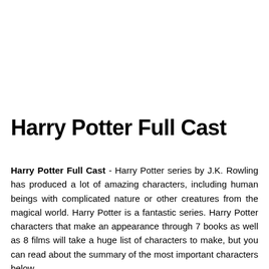Harry Potter Full Cast
Harry Potter Full Cast - Harry Potter series by J.K. Rowling has produced a lot of amazing characters, including human beings with complicated nature or other creatures from the magical world. Harry Potter is a fantastic series. Harry Potter characters that make an appearance through 7 books as well as 8 films will take a huge list of characters to make, but you can read about the summary of the most important characters below.